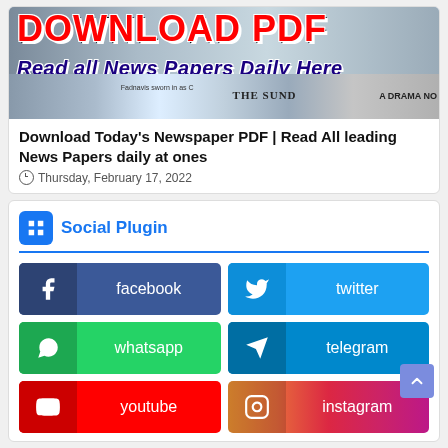[Figure (screenshot): Newspaper PDF download banner with red bold 'DOWNLOAD PDF' text and blue italic subtitle 'Read all News Papers Daily Here' over newspaper images including The Sunday Standard]
Download Today's Newspaper PDF | Read All leading News Papers daily at ones
Thursday, February 17, 2022
Social Plugin
[Figure (infographic): Social media buttons grid: facebook (blue), twitter (cyan), whatsapp (green), telegram (blue), youtube (red), instagram (gradient pink-purple)]